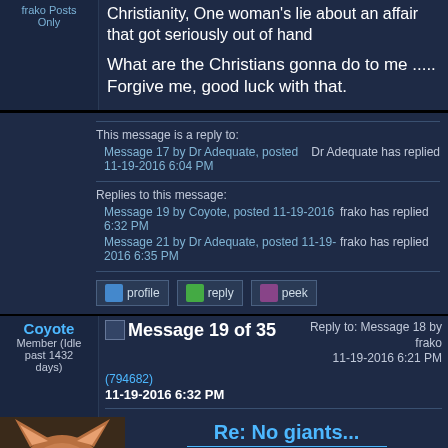frako Posts Only
Christianity, One woman's lie about an affair that got seriously out of hand
What are the Christians gonna do to me ..... Forgive me, good luck with that.
This message is a reply to:
Message 17 by Dr Adequate, posted 11-19-2016 6:04 PM
Dr Adequate has replied
Replies to this message:
Message 19 by Coyote, posted 11-19-2016 6:32 PM
frako has replied
Message 21 by Dr Adequate, posted 11-19-2016 6:35 PM
frako has replied
profile   reply   peek
Coyote
Member (Idle past 1432 days)
Message 19 of 35
(794682)
11-19-2016 6:32 PM
Reply to: Message 18 by frako
11-19-2016 6:21 PM
Re: No giants...
56 cm for females is small?